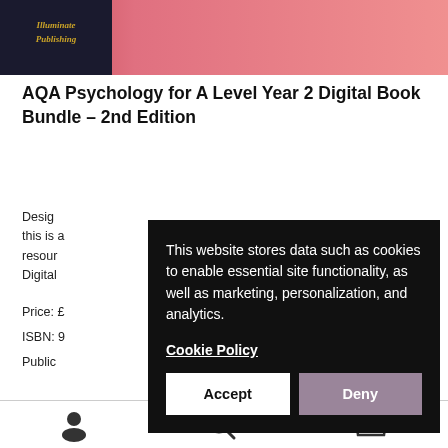[Figure (illustration): Book cover banner with Illuminate Publishing logo on dark background and pink/red gradient cover art]
AQA Psychology for A Level Year 2 Digital Book Bundle – 2nd Edition
Designed for the AQA Psychology A Level course this is a comprehensive and well-resourced resource... Digital
Price: £...
ISBN: 9...
Public...
[Figure (screenshot): Cookie consent popup overlay with black background. Text reads: 'This website stores data such as cookies to enable essential site functionality, as well as marketing, personalization, and analytics.' with a Cookie Policy link and Accept/Deny buttons.]
[Figure (infographic): Yellow LOGIN TO THIS RESOURCE button]
[Figure (infographic): Bottom navigation bar with person icon, search icon, and shopping basket icon with 0 badge]